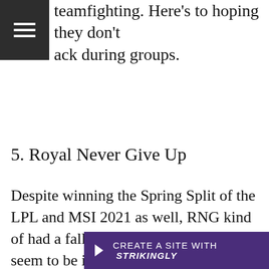teamfighting. Here's to hoping they don't lack during groups.
5. Royal Never Give Up
Despite winning the Spring Split of the LPL and MSI 2021 as well, RNG kind of had a fall from grace in summer and seem to be in somewhat of a slump. Despite all that RNG is a team that knows how to show up internationally and with Li “[...]” one of th[...] a
CREATE A SITE WITH strikingly